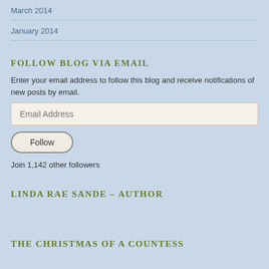March 2014
January 2014
FOLLOW BLOG VIA EMAIL
Enter your email address to follow this blog and receive notifications of new posts by email.
Email Address
Follow
Join 1,142 other followers
LINDA RAE SANDE – AUTHOR
THE CHRISTMAS OF A COUNTESS